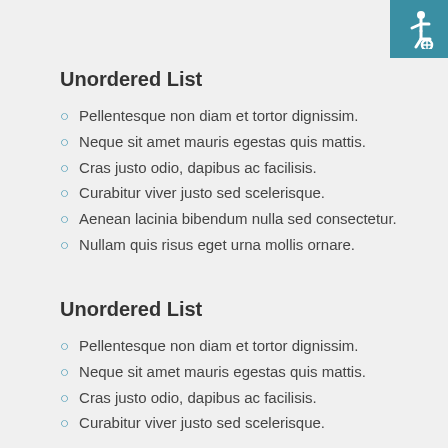[Figure (illustration): Accessibility wheelchair icon in teal/blue square, top right corner]
Unordered List
Pellentesque non diam et tortor dignissim.
Neque sit amet mauris egestas quis mattis.
Cras justo odio, dapibus ac facilisis.
Curabitur viver justo sed scelerisque.
Aenean lacinia bibendum nulla sed consectetur.
Nullam quis risus eget urna mollis ornare.
Unordered List
Pellentesque non diam et tortor dignissim.
Neque sit amet mauris egestas quis mattis.
Cras justo odio, dapibus ac facilisis.
Curabitur viver justo sed scelerisque.